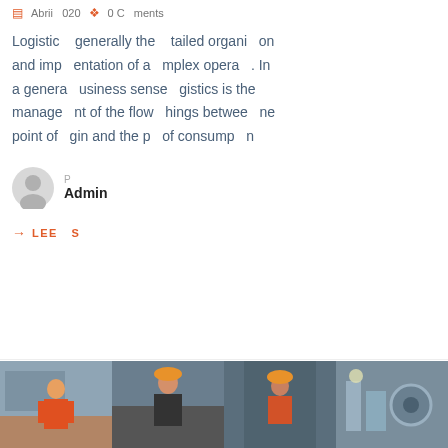April 020 0 Comments
Logistics generally the tailed organization and implementation of complex operations. In a general business sense logistics is the management of the flow of things between the point of origin and the point of consumption.
P Admin
→ LEERS
[Figure (photo): Four industrial/logistics workplace photos showing workers in orange vests and hard hats in factory settings]
[Figure (photo): Worker in orange vest looking down]
[Figure (photo): Worker with hard hat in industrial setting]
[Figure (photo): Industrial machinery close-up]